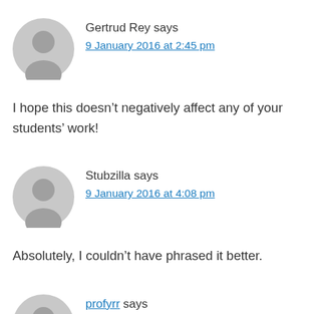[Figure (illustration): Gray avatar icon for user Gertrud Rey]
Gertrud Rey says
9 January 2016 at 2:45 pm
I hope this doesn't negatively affect any of your students' work!
[Figure (illustration): Gray avatar icon for user Stubzilla]
Stubzilla says
9 January 2016 at 4:08 pm
Absolutely, I couldn't have phrased it better.
[Figure (illustration): Gray avatar icon for user profyrr (partial)]
profyrr says